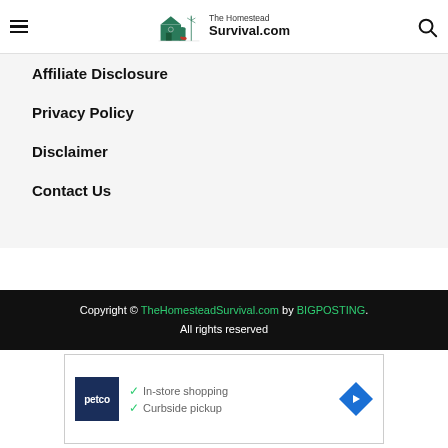The Homestead Survival.com
Affiliate Disclosure
Privacy Policy
Disclaimer
Contact Us
Copyright © TheHomesteadSurvival.com by BIGPOSTING. All rights reserved
[Figure (other): Petco advertisement showing in-store shopping and curbside pickup options with Petco logo and navigation arrow icon]